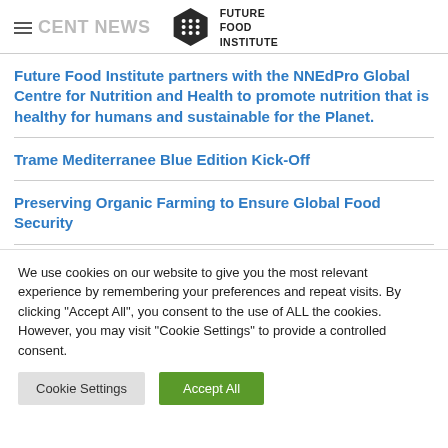RECENT NEWS — Future Food Institute
Future Food Institute partners with the NNEdPro Global Centre for Nutrition and Health to promote nutrition that is healthy for humans and sustainable for the Planet.
Trame Mediterranee Blue Edition Kick-Off
Preserving Organic Farming to Ensure Global Food Security
We use cookies on our website to give you the most relevant experience by remembering your preferences and repeat visits. By clicking "Accept All", you consent to the use of ALL the cookies. However, you may visit "Cookie Settings" to provide a controlled consent.